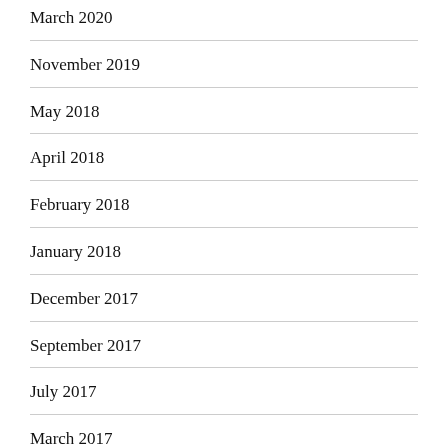March 2020
November 2019
May 2018
April 2018
February 2018
January 2018
December 2017
September 2017
July 2017
March 2017
August 2016